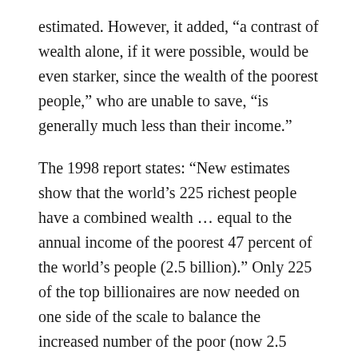estimated. However, it added, “a contrast of wealth alone, if it were possible, would be even starker, since the wealth of the poorest people,” who are unable to save, “is generally much less than their income.”
The 1998 report states: “New estimates show that the world’s 225 richest people have a combined wealth … equal to the annual income of the poorest 47 percent of the world’s people (2.5 billion).” Only 225 of the top billionaires are now needed on one side of the scale to balance the increased number of the poor (now 2.5 billion) on the other side!